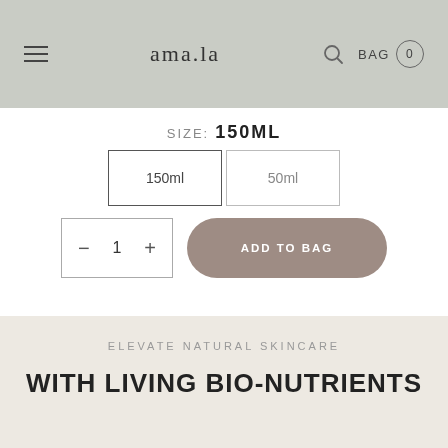ama.la — BAG 0
SIZE: 150ML
150ml  50ml
− 1 +  ADD TO BAG
ELEVATE NATURAL SKINCARE
WITH LIVING BIO-NUTRIENTS